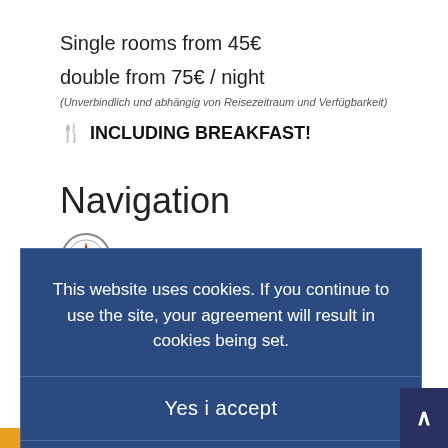Single rooms from 45€
double from 75€ / night
(Unverbindlich und abhängig von Reisezeitraum und Verfügbarkeit)
🍴 INCLUDING BREAKFAST!
Navigation
Latitude: 49.98754
This website uses cookies. If you continue to use the site, your agreement will result in cookies being set.
Yes i accept
NEIN